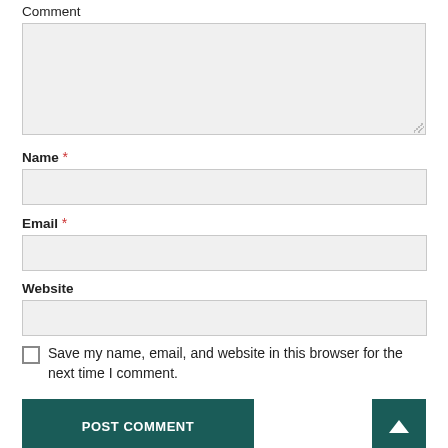Comment
[Figure (screenshot): Comment textarea input field (empty, light gray background with resize handle)]
Name *
[Figure (screenshot): Name text input field (empty, light gray background)]
Email *
[Figure (screenshot): Email text input field (empty, light gray background)]
Website
[Figure (screenshot): Website text input field (empty, light gray background)]
Save my name, email, and website in this browser for the next time I comment.
[Figure (screenshot): POST COMMENT button (dark teal) and back-to-top arrow button (dark teal)]